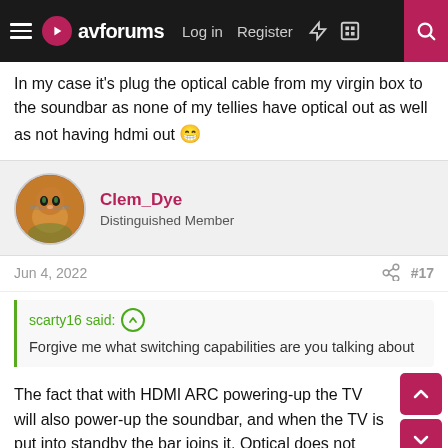avforums – Log in | Register | #17
In my case it's plug the optical cable from my virgin box to the soundbar as none of my tellies have optical out as well as not having hdmi out 😁
Clem_Dye – Distinguished Member
Jun 4, 2022  #17
scarty16 said: ↑
Forgive me what switching capabilities are you talking about
The fact that with HDMI ARC powering-up the TV will also power-up the soundbar, and when the TV is put into standby the bar joins it. Optical does not have those capabilities by default. Perhaps Sonos have done something fancy to get round the issue.